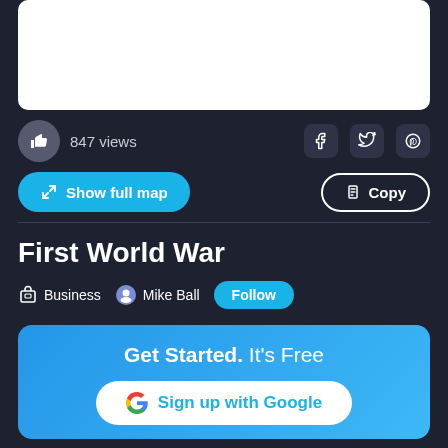[Figure (screenshot): White blank map area at top]
847 views
[Figure (other): Social share icons: Facebook, Twitter, Pinterest]
Show full map
Copy
First World War
Business   Mike Ball   Follow
Get Started.  It's Free
Sign up with Google